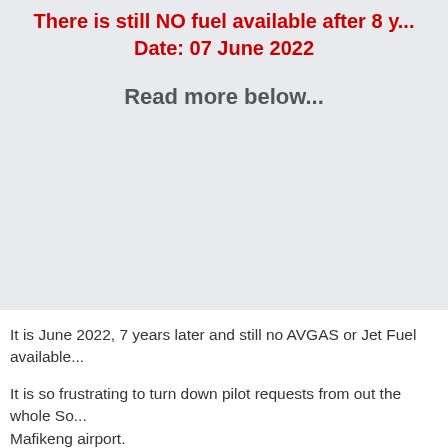There is still NO fuel available after 8 y... Date: 07 June 2022
Read more below...
It is June 2022, 7 years later and still no AVGAS or Jet Fuel available...
It is so frustrating to turn down pilot requests from out the whole So... Mafikeng airport.
Do not expect to find any AVGAS or JET A1 fuel at the Mafikeng Ai... stranded.